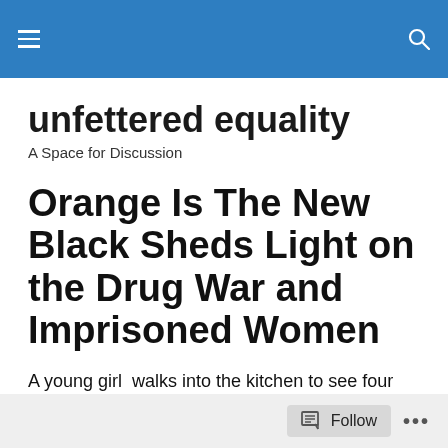unfettered equality — site navigation header with menu and search icons
unfettered equality
A Space for Discussion
Orange Is The New Black Sheds Light on the Drug War and Imprisoned Women
A young girl  walks into the kitchen to see four women, one of whom is her mother, sitting around a kitchen table in their bras cutting, weighing and packaging cocaine and
Follow ...